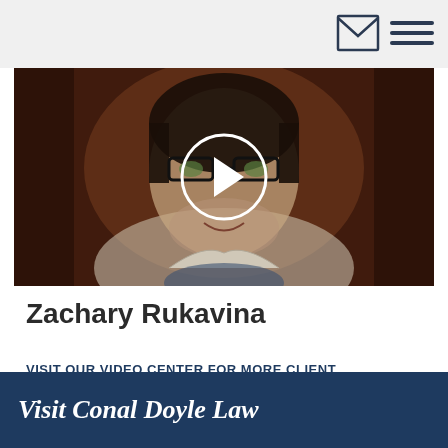[Figure (photo): A young man with dark hair and glasses, smiling, sitting in front of a wooden background. A circular play button overlay is centered on the image, indicating a video testimonial.]
Zachary Rukavina
VISIT OUR VIDEO CENTER FOR MORE CLIENT TESTIMONIALS ›
Visit Conal Doyle Law